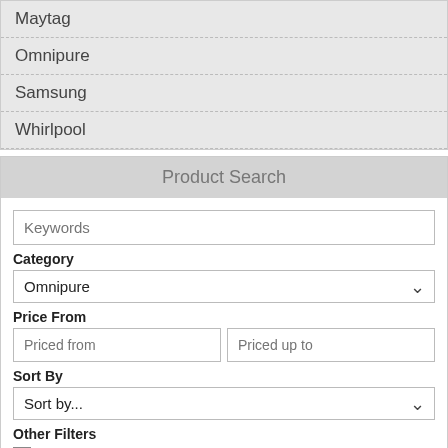Maytag
Omnipure
Samsung
Whirlpool
Product Search
Keywords
Category
Omnipure
Price From
Priced from
Priced up to
Sort By
Sort by...
Other Filters
On Special
In Stock
Search